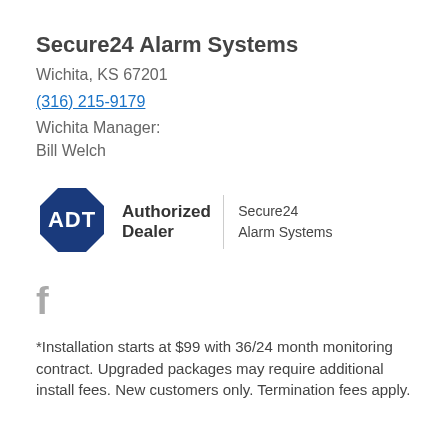Secure24 Alarm Systems
Wichita, KS 67201
(316) 215-9179
Wichita Manager:
Bill Welch
[Figure (logo): ADT Authorized Dealer logo with Secure24 Alarm Systems text]
[Figure (logo): Facebook icon (f)]
*Installation starts at $99 with 36/24 month monitoring contract. Upgraded packages may require additional install fees. New customers only. Termination fees apply.